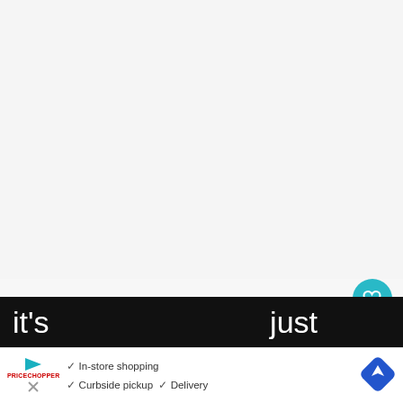[Figure (screenshot): Blank/whitespace top area of a webpage screenshot]
“To be clear, this does not mean that social distancing will no longer exist in the s… Sisolak said. “Every health official will agree that
it’s just me… this th…
[Figure (other): Advertisement banner: In-store shopping, Curbside pickup, Delivery with a navigation/map icon and brand logo]